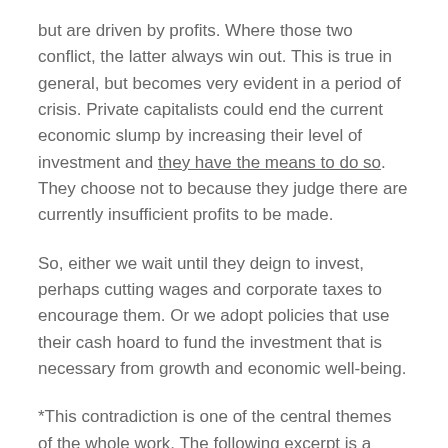but are driven by profits. Where those two conflict, the latter always win out. This is true in general, but becomes very evident in a period of crisis. Private capitalists could end the current economic slump by increasing their level of investment and they have the means to do so. They choose not to because they judge there are currently insufficient profits to be made.
So, either we wait until they deign to invest, perhaps cutting wages and corporate taxes to encourage them. Or we adopt policies that use their cash hoard to fund the investment that is necessary from growth and economic well-being.
*This contradiction is one of the central themes of the whole work. The following excerpt is a good example:
‘It is not that too much wealth is produced. But from time to time there is too much wealth produced in in its capitalist